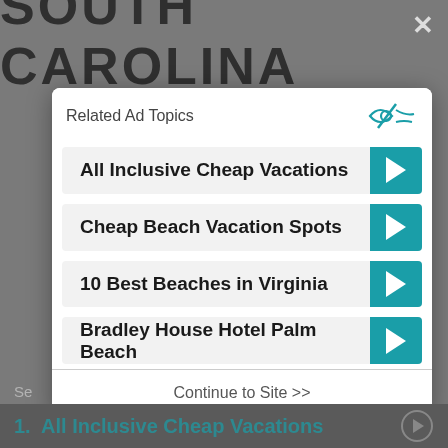SOUTH CAROLINA
Related Ad Topics
All Inclusive Cheap Vacations
Cheap Beach Vacation Spots
10 Best Beaches in Virginia
Bradley House Hotel Palm Beach
Continue to Site >>
1.  All Inclusive Cheap Vacations